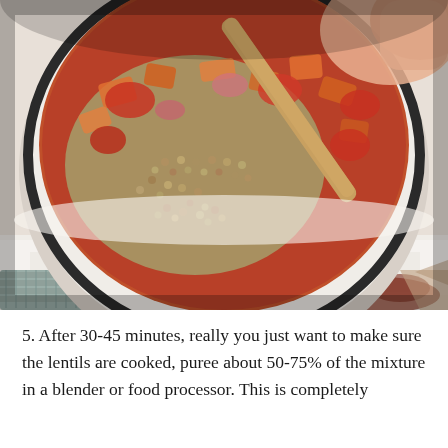[Figure (photo): Overhead view of a white enamel pot containing lentils and chopped vegetables (tomatoes, carrots, onions) being stirred with a wooden spoon. The pot sits on a white surface with a gray kitchen towel visible below. A person's hand is visible holding the spoon.]
5. After 30-45 minutes, really you just want to make sure the lentils are cooked, puree about 50-75% of the mixture in a blender or food processor. This is completely